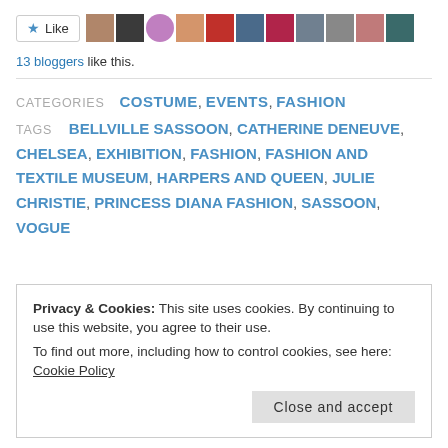[Figure (other): Like button with star icon followed by a row of 10 small blogger avatar thumbnails]
13 bloggers like this.
CATEGORIES  COSTUME, EVENTS, FASHION
TAGS  BELLVILLE SASSOON, CATHERINE DENEUVE, CHELSEA, EXHIBITION, FASHION, FASHION AND TEXTILE MUSEUM, HARPERS AND QUEEN, JULIE CHRISTIE, PRINCESS DIANA FASHION, SASSOON, VOGUE
Privacy & Cookies: This site uses cookies. By continuing to use this website, you agree to their use.
To find out more, including how to control cookies, see here: Cookie Policy
Close and accept